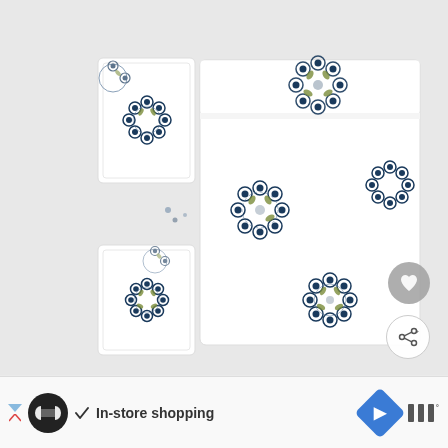[Figure (photo): Product photo of a floral medallion-patterned sheet set (pillowcases and folded flat/fitted sheets) on a white background. Features circular medallion designs with dark navy/blue flowers and olive green leaves.]
WHAT'S NEXT → Happy Feet
In-store shopping